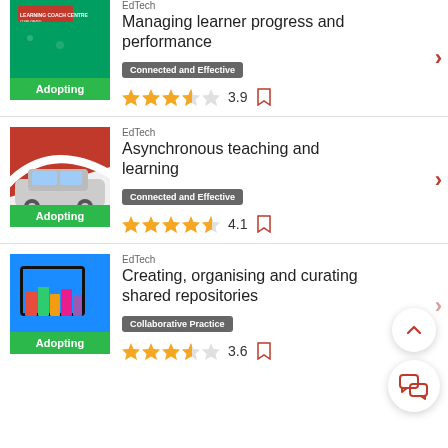EdTech Managing learner progress and performance — Connected and Effective — Rating: 3.9
EdTech Asynchronous teaching and learning — Connected and Effective — Rating: 4.1
EdTech Creating, organising and curating shared repositories — Collaborative Practice — Rating: 3.6